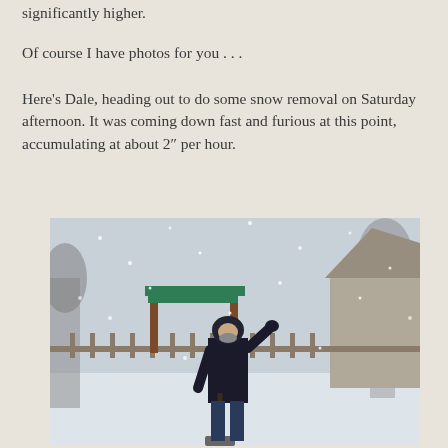significantly higher.
Of course I have photos for you . . .
Here’s Dale, heading out to do some snow removal on Saturday afternoon. It was coming down fast and furious at this point, accumulating at about 2″ per hour.
[Figure (photo): A man in a dark winter coat and hood stands in a snow-covered yard during a heavy snowstorm, holding a snow shovel. He appears to be waving. In the background are trees, a wooden fence, a green playground structure, and houses.]